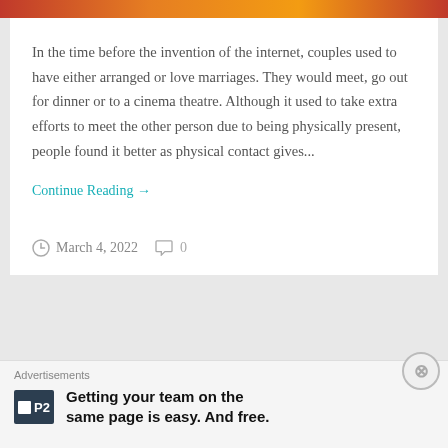[Figure (photo): Decorative top image bar with warm red, orange, and gold tones]
In the time before the invention of the internet, couples used to have either arranged or love marriages. They would meet, go out for dinner or to a cinema theatre. Although it used to take extra efforts to meet the other person due to being physically present, people found it better as physical contact gives...
Continue Reading →
March 4, 2022   0
Advertisements
Getting your team on the same page is easy. And free.